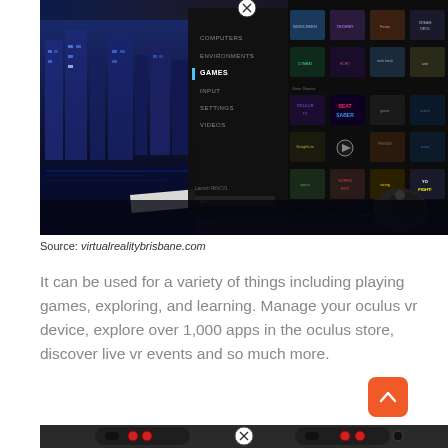[Figure (screenshot): Screenshot of an Oculus VR headset interface showing a dark curved screen with a game library menu. Left sidebar shows categories: COMPUTERS, ENVIRONMENTS, GAMES (highlighted), INPUT, SETTINGS, VIDEOS. Main area shows game thumbnails including Beat Saber, Dreamdeck, and others. Background shows a city at night in blue tones. A VR controller is visible in the lower right.]
Source: virtualrealitybrisbane.com
It can be used for a variety of things including playing games, exploring, and learning. Manage your oculus vr device, explore over 1,000 apps in the oculus store, discover live vr events and so much more.
[Figure (screenshot): Screenshot of Oculus VR controllers shown from below against a dark background.]